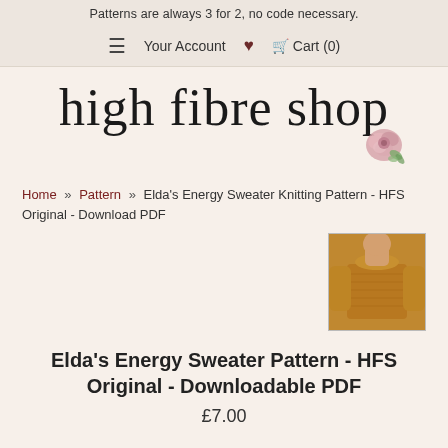Patterns are always 3 for 2, no code necessary.
≡  Your Account  ♥  🛒 Cart (0)
[Figure (logo): High Fibre Shop cursive logo with pink floral decoration]
Home » Pattern » Elda's Energy Sweater Knitting Pattern - HFS Original - Download PDF
[Figure (photo): Small thumbnail photo of a person wearing a golden-brown knitted sweater]
Elda's Energy Sweater Pattern - HFS Original - Downloadable PDF
£7.00